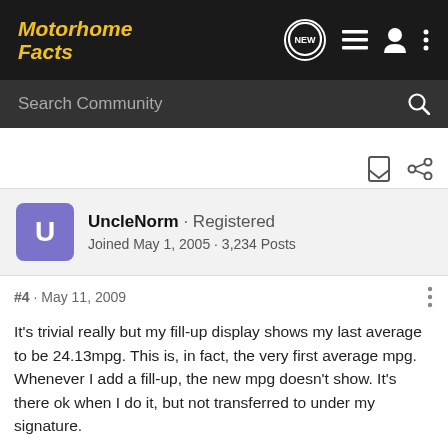Motorhome Facts
Search Community
UncleNorm · Registered
Joined May 1, 2005 · 3,234 Posts
#4 · May 11, 2009
It's trivial really but my fill-up display shows my last average to be 24.13mpg. This is, in fact, the very first average mpg. Whenever I add a fill-up, the new mpg doesn't show. It's there ok when I do it, but not transferred to under my signature.

I did PM Nuke several weeks ago but the PM is still in my